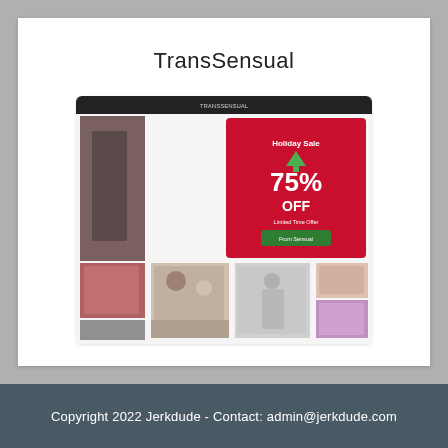TransSensual
[Figure (screenshot): Screenshot of TransSensual website showing a holiday sale promotion with 75% off banner and a grid of thumbnail images]
Copyright 2022 Jerkdude - Contact: admin@jerkdude.com